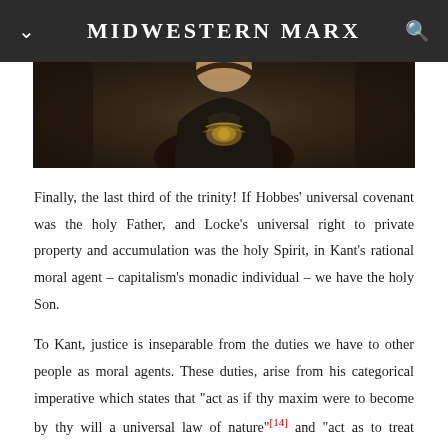MIDWESTERN MARX
[Figure (photo): Partial view of a classical portrait painting showing a person in dark formal attire with ornate decorative elements on the chest, cropped to show mainly the torso and lower face area.]
Finally, the last third of the trinity! If Hobbes’ universal covenant was the holy Father, and Locke’s universal right to private property and accumulation was the holy Spirit, in Kant’s rational moral agent – capitalism’s monadic individual – we have the holy Son.
To Kant, justice is inseparable from the duties we have to other people as moral agents. These duties, arise from his categorical imperative which states that “act as if thy maxim were to become by thy will a universal law of nature”[14] and “act as to treat humanity, whether in thine